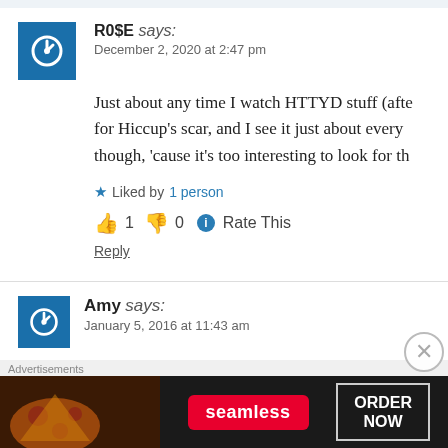R0$E says: December 2, 2020 at 2:47 pm
Just about any time I watch HTTYD stuff (after for Hiccup's scar, and I see it just about every though, 'cause it's too interesting to look for th
Liked by 1 person
👍 1 👎 0 ℹ Rate This
Reply
Amy says: January 5, 2016 at 11:43 am
Advertisements — seamless ORDER NOW